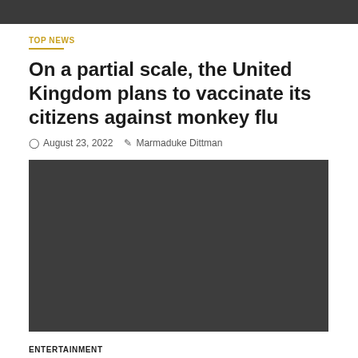TOP NEWS
On a partial scale, the United Kingdom plans to vaccinate its citizens against monkey flu
August 23, 2022   Marmaduke Dittman
[Figure (photo): Dark gray placeholder image for article]
ENTERTAINMENT